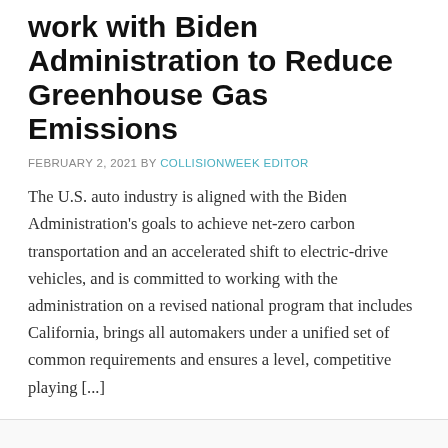work with Biden Administration to Reduce Greenhouse Gas Emissions
FEBRUARY 2, 2021 BY COLLISIONWEEK EDITOR
The U.S. auto industry is aligned with the Biden Administration's goals to achieve net-zero carbon transportation and an accelerated shift to electric-drive vehicles, and is committed to working with the administration on a revised national program that includes California, brings all automakers under a unified set of common requirements and ensures a level, competitive playing [...]
FILED UNDER: NEWS
TAGGED WITH: ALLIANCE FOR AUTOMOTIVE INNOVATION